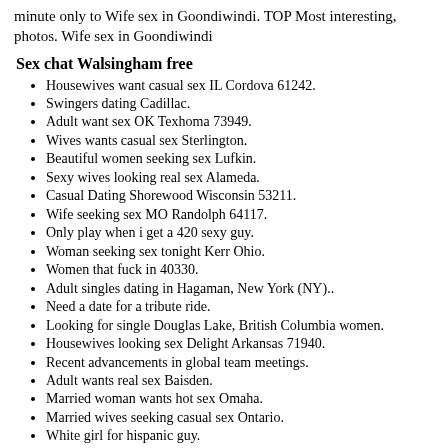minute only to Wife sex in Goondiwindi. TOP Most interesting, photos. Wife sex in Goondiwindi
Sex chat Walsingham free
Housewives want casual sex IL Cordova 61242.
Swingers dating Cadillac.
Adult want sex OK Texhoma 73949.
Wives wants casual sex Sterlington.
Beautiful women seeking sex Lufkin.
Sexy wives looking real sex Alameda.
Casual Dating Shorewood Wisconsin 53211.
Wife seeking sex MO Randolph 64117.
Only play when i get a 420 sexy guy.
Woman seeking sex tonight Kerr Ohio.
Women that fuck in 40330.
Adult singles dating in Hagaman, New York (NY)..
Need a date for a tribute ride.
Looking for single Douglas Lake, British Columbia women.
Housewives looking sex Delight Arkansas 71940.
Recent advancements in global team meetings.
Adult wants real sex Baisden.
Married woman wants hot sex Omaha.
Married wives seeking casual sex Ontario.
White girl for hispanic guy.